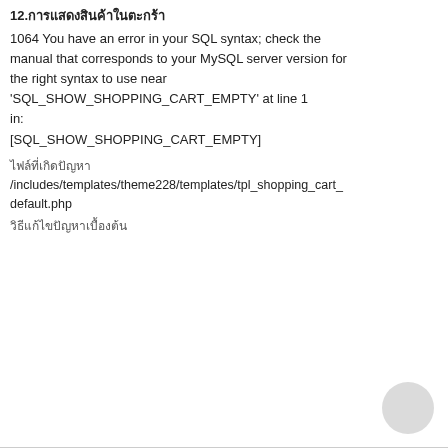12.การแสดงสินค้าในตะกร้า
1064 You have an error in your SQL syntax; check the manual that corresponds to your MySQL server version for the right syntax to use near 'SQL_SHOW_SHOPPING_CART_EMPTY' at line 1 in:
[SQL_SHOW_SHOPPING_CART_EMPTY]
ไฟล์ที่เกิดปัญหา
/includes/templates/theme228/templates/tpl_shopping_cart_default.php
วิธีแก้ไขปัญหาเบื้องต้น